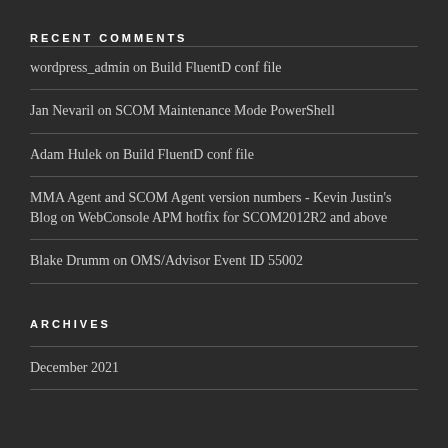RECENT COMMENTS
wordpress_admin on Build FluentD conf file
Jan Nevaril on SCOM Maintenance Mode PowerShell
Adam Hulek on Build FluentD conf file
MMA Agent and SCOM Agent version numbers - Kevin Justin's Blog on WebConsole APM hotfix for SCOM2012R2 and above
Blake Drumm on OMS/Advisor Event ID 55002
ARCHIVES
December 2021